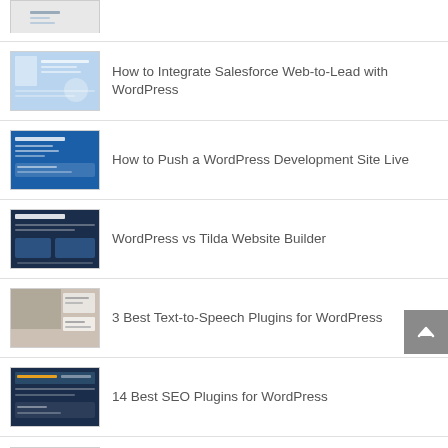[Figure (screenshot): Partial thumbnail of a website/article image, cropped at top]
How to Integrate Salesforce Web-to-Lead with WordPress
How to Push a WordPress Development Site Live
WordPress vs Tilda Website Builder
3 Best Text-to-Speech Plugins for WordPress
14 Best SEO Plugins for WordPress
How to Style the Cart & Search Icons in Your Divi Fullwidth Menu Module